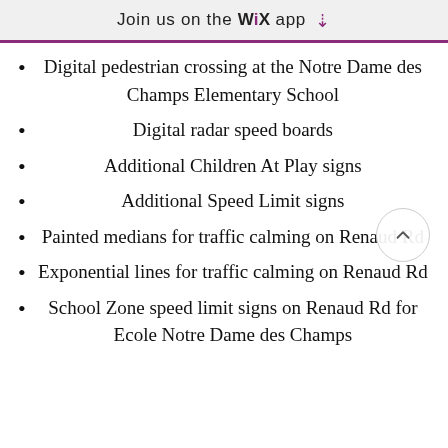Join us on the WiX app ⬇
Digital pedestrian crossing at the Notre Dame des Champs Elementary School
Digital radar speed boards
Additional Children At Play signs
Additional Speed Limit signs
Painted medians for traffic calming on Renaud Rd
Exponential lines for traffic calming on Renaud Rd
School Zone speed limit signs on Renaud Rd for Ecole Notre Dame des Champs